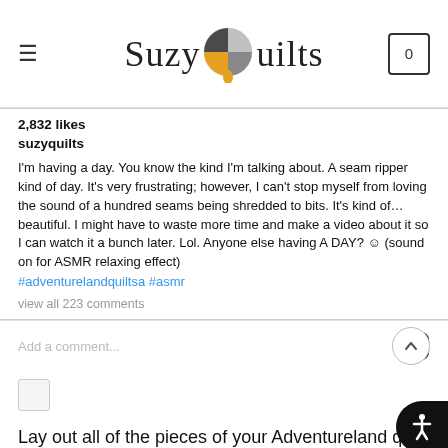Suzy Quilts
2,832 likes
suzyquilts
I'm having a day. You know the kind I'm talking about. A seam ripper kind of day. It's very frustrating; however, I can't stop myself from loving the sound of a hundred seams being shredded to bits. It's kind of…beautiful. I might have to waste more time and make a video about it so I can watch it a bunch later. Lol. Anyone else having A DAY? ☺ (sound on for ASMR relaxing effect)
#adventurelandquiltsa #asmr
view all 223 comments
Add a comment...
Lay out all of the pieces of your Adventureland quilt so that you know for sure you are sewing the triangles to the